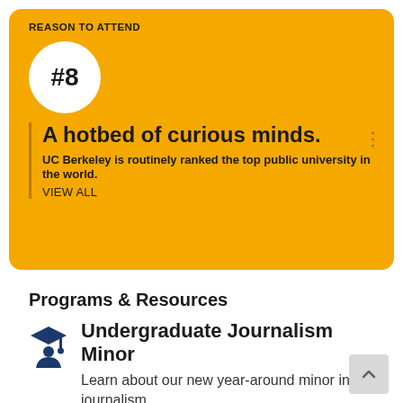REASON TO ATTEND
#8
A hotbed of curious minds.
UC Berkeley is routinely ranked the top public university in the world.
VIEW ALL
Programs & Resources
[Figure (illustration): Graduation cap icon representing undergraduate student]
Undergraduate Journalism Minor
Learn about our new year-around minor in journalism